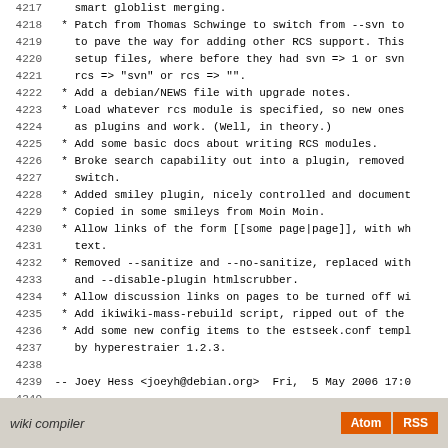4217    smart globlist merging.
4218  * Patch from Thomas Schwinge to switch from --svn to
4219    to pave the way for adding other RCS support. This
4220    setup files, where before they had svn => 1 or svn
4221    rcs => "svn" or rcs => "".
4222  * Add a debian/NEWS file with upgrade notes.
4223  * Load whatever rcs module is specified, so new ones
4224    as plugins and work. (Well, in theory.)
4225  * Add some basic docs about writing RCS modules.
4226  * Broke search capability out into a plugin, removed
4227    switch.
4228  * Added smiley plugin, nicely controlled and document
4229  * Copied in some smileys from Moin Moin.
4230  * Allow links of the form [[some page|page]], with wh
4231    text.
4232  * Removed --sanitize and --no-sanitize, replaced with
4233    and --disable-plugin htmlscrubber.
4234  * Allow discussion links on pages to be turned off wi
4235  * Add ikiwiki-mass-rebuild script, ripped out of the
4236  * Add some new config items to the estseek.conf templ
4237    by hyperestraier 1.2.3.
4238
4239 -- Joey Hess <joeyh@debian.org>  Fri,  5 May 2006 17:0
4240
4241 ikiwiki (1.0) unstable; urgency=low
4242
4243  * First official release.
4244
4245 -- Joey Hess <joeyh@debian.org>  Tue, 25 Apr 2006 02:0
wiki compiler  Atom  RSS